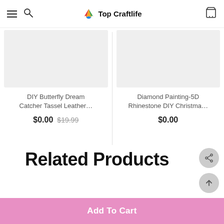Top Craftlife
DIY Butterfly Dream Catcher Tassel Leather…
$0.00  $19.99
Diamond Painting-5D Rhinestone DIY Christma…
$0.00
Related Products
Add To Cart